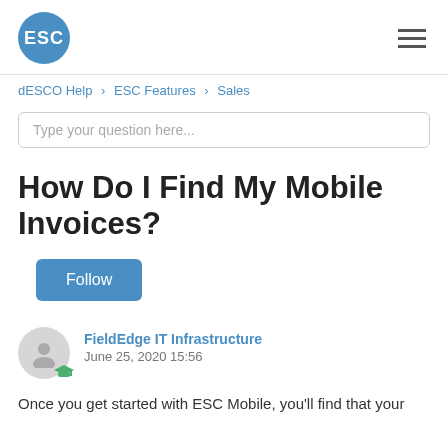ESC logo and navigation menu
dESCO Help › ESC Features › Sales
Type your question here...
How Do I Find My Mobile Invoices?
Follow
FieldEdge IT Infrastructure
June 25, 2020 15:56
Once you get started with ESC Mobile, you'll find that your